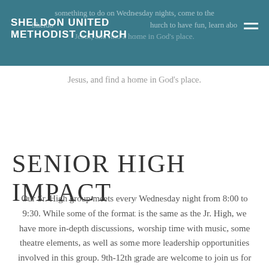SHELDON UNITED METHODIST CHURCH
something to do on Wednesday nights, come to the Sheldon United Methodist Church to have fun, learn about Jesus, and find a home in God's place.
SENIOR HIGH IMPACT
Our Sr. High group meets every Wednesday night from 8:00 to 9:30. While some of the format is the same as the Jr. High, we have more in-depth discussions, worship time with music, some theatre elements, as well as some more leadership opportunities involved in this group. 9th-12th grade are welcome to join us for this time of learning, fun, and worshipping the One True King.